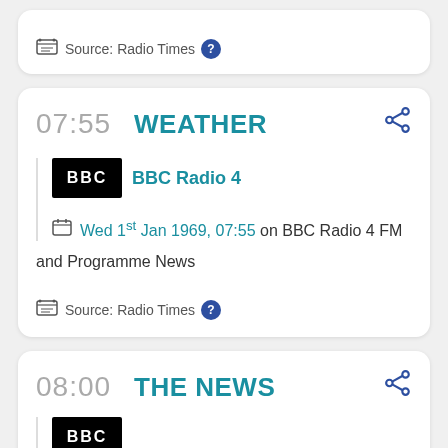Source: Radio Times
07:55 WEATHER
BBC Radio 4
Wed 1st Jan 1969, 07:55 on BBC Radio 4 FM
and Programme News
Source: Radio Times
08:00 THE NEWS